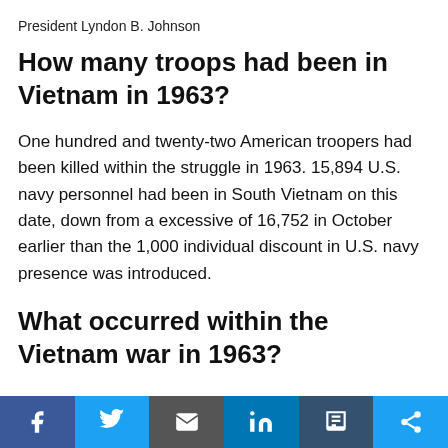President Lyndon B. Johnson
How many troops had been in Vietnam in 1963?
One hundred and twenty-two American troopers had been killed within the struggle in 1963. 15,894 U.S. navy personnel had been in South Vietnam on this date, down from a excessive of 16,752 in October earlier than the 1,000 individual discount in U.S. navy presence was introduced.
What occurred within the Vietnam war in 1963?